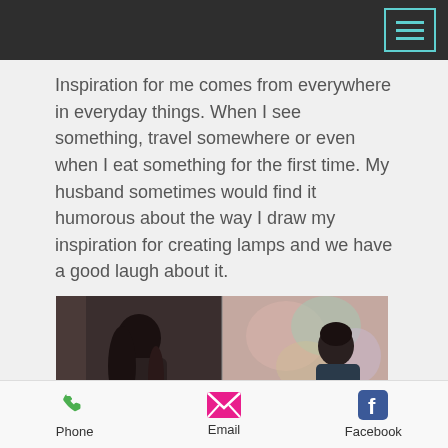[Figure (other): Mobile app screenshot header with dark top bar containing teal hamburger menu icon]
Inspiration for me comes from everywhere in everyday things. When I see something, travel somewhere or even when I eat something for the first time. My husband sometimes would find it humorous about the way I draw my inspiration for creating lamps and we have a good laugh about it.
[Figure (photo): Two women sitting and talking in conversation; overlaid text reads: "We are a homeware store but]
Phone   Email   Facebook